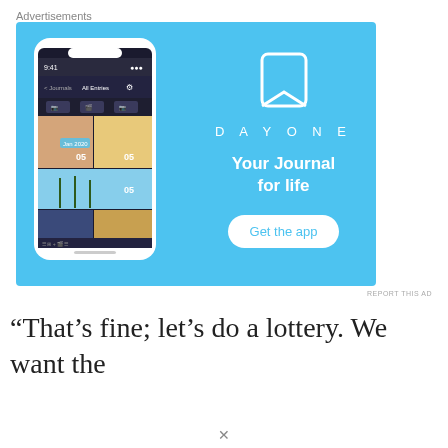Advertisements
[Figure (illustration): DayOne journal app advertisement with sky-blue background showing a smartphone displaying the DayOne app interface with photo journal entries (Jan 2020), a DayOne logo (bookmark icon), the text 'DAY ONE', 'Your Journal for life', and a 'Get the app' button.]
REPORT THIS AD
“That’s fine; let’s do a lottery. We want the